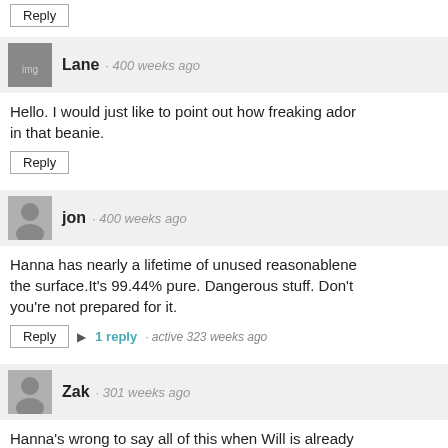Reply (button)
Lane · 400 weeks ago
Hello. I would just like to point out how freaking ador... in that beanie.
Reply
jon · 400 weeks ago
Hanna has nearly a lifetime of unused reasonablene... the surface.It's 99.44% pure. Dangerous stuff. Don't... you're not prepared for it.
Reply · 1 reply · active 323 weeks ago
Zak · 301 weeks ago
Hanna's wrong to say all of this when Will is already... pretty meaningful change by being consistent about...
Reply
MerchMagDan · 400 weeks ago